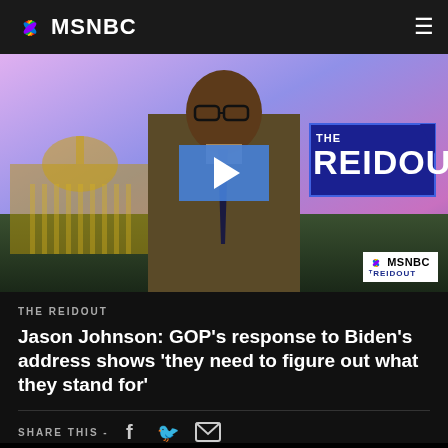MSNBC
[Figure (screenshot): MSNBC video thumbnail showing a man in a brown suit with glasses sitting at a news desk. Behind him is the US Capitol building and a 'THE REIDOUT' show graphic. A blue play button overlay is centered on the image. MSNBC and THE REIDOUT watermark in bottom-right corner.]
THE REIDOUT
Jason Johnson: GOP's response to Biden's address shows 'they need to figure out what they stand for'
SHARE THIS - (Facebook) (Twitter) (Email)